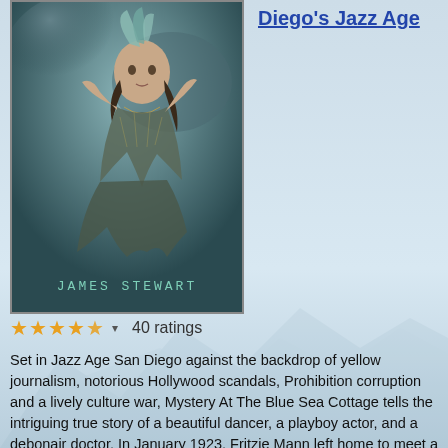[Figure (photo): Book cover showing a 1920s-style woman in decorative costume posing dramatically, with the author name JAMES STEWART overlaid in teal Art Deco lettering at the bottom]
Diego's Jazz Age
★★★★★½  ▾   40 ratings
Set in Jazz Age San Diego against the backdrop of yellow journalism, notorious Hollywood scandals, Prohibition corruption and a lively culture war, Mystery At The Blue Sea Cottage tells the intriguing true story of a beautiful dancer, a playboy actor, and a debonair doctor. In January 1923, Fritzie Mann left home to meet a man whose identity she would forever keep a secret. The next morning, the b... More